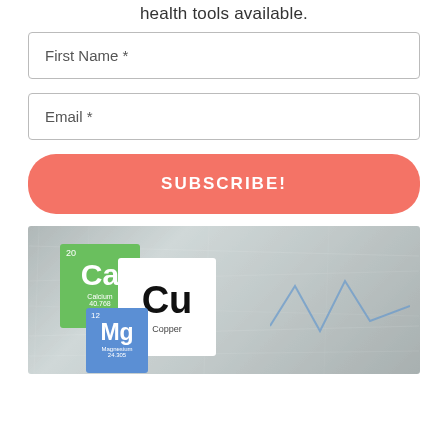health tools available.
First Name *
Email *
SUBSCRIBE!
[Figure (photo): Periodic table element tiles for Calcium (Ca, 20, green), Copper (Cu, white card), and Magnesium (Mg, 12, blue) against a metallic scratched background with a blue wave line on the right.]